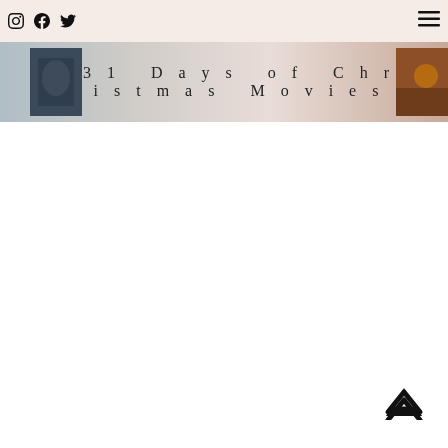Instagram Facebook Twitter Menu
31 Days of Christmas Movies
[Figure (photo): Dark blue-grey thumbnail image on left side of banner]
[Figure (photo): Warm brown/orange thumbnail image on right side of banner]
[Figure (illustration): Chevron up arrow for back-to-top navigation]